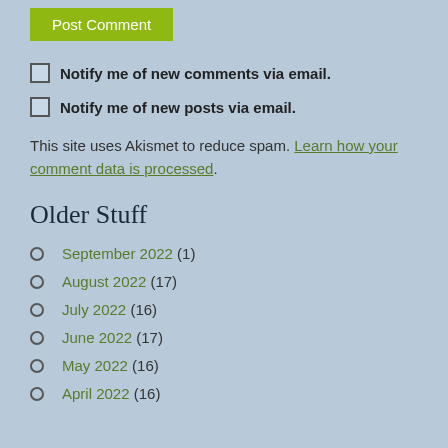[Figure (other): Green 'Post Comment' button]
Notify me of new comments via email.
Notify me of new posts via email.
This site uses Akismet to reduce spam. Learn how your comment data is processed.
Older Stuff
September 2022 (1)
August 2022 (17)
July 2022 (16)
June 2022 (17)
May 2022 (16)
April 2022 (16)